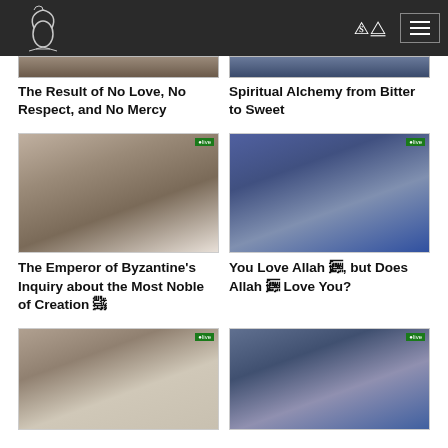Navigation bar with logo, shuffle icon, and menu icon
[Figure (photo): Partial video thumbnail of a person – top row left]
[Figure (photo): Partial video thumbnail of a person – top row right]
The Result of No Love, No Respect, and No Mercy
Spiritual Alchemy from Bitter to Sweet
[Figure (photo): Video thumbnail showing scholar in white turban and dark robe, indoor setting]
[Figure (photo): Video thumbnail showing scholar in white turban, blue curtain background]
The Emperor of Byzantine's Inquiry about the Most Noble of Creation ﷺ
You Love Allah ﷻ, but Does Allah ﷻ Love You?
[Figure (photo): Partial video thumbnail showing scholar at bottom left]
[Figure (photo): Partial video thumbnail showing scholar at bottom right]